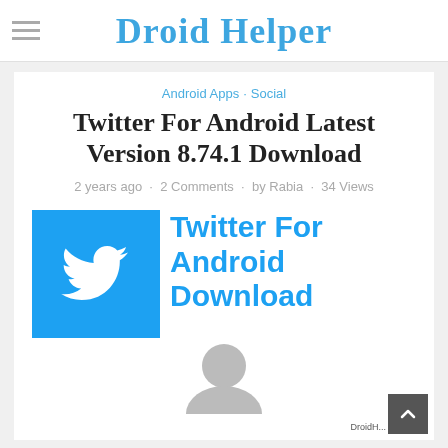Droid Helper
Android Apps · Social
Twitter For Android Latest Version 8.74.1 Download
2 years ago · 2 Comments · by Rabia · 34 Views
[Figure (illustration): Twitter for Android Download promotional image with Twitter bird logo on blue background and bold blue text reading 'Twitter For Android Download']